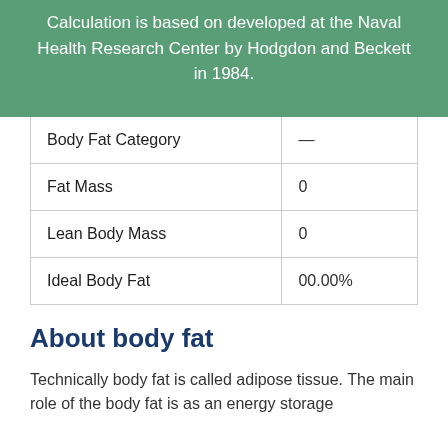Calculation is based on developed at the Naval Health Research Center by Hodgdon and Beckett in 1984.
| Body Fat Category | — |
| Fat Mass | 0 |
| Lean Body Mass | 0 |
| Ideal Body Fat | 00.00% |
About body fat
Technically body fat is called adipose tissue. The main role of the body fat is as an energy storage